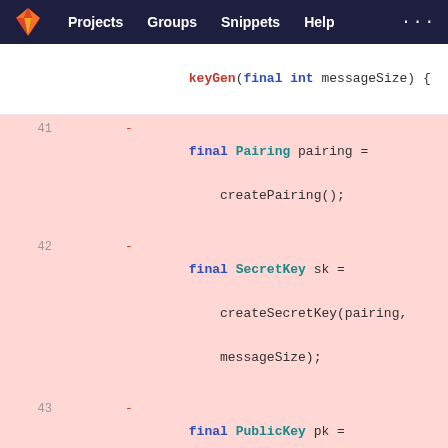GitLab navigation bar with logo, Projects, Groups, Snippets, Help, ...
[Figure (screenshot): Git diff view of Java source code showing removed lines (red, lines 41-43) replacing createPairing(), createSecretKey(), createPublicKey() calls with KeyGen.createPairing(), KeyGen.createSecretKey(), KeyGen.createPublicKey() static calls (green, lines 39-41), with context lines 44-47 showing return new KeyPair(pk, sk), closing brace, and start of private static PublicKey createPublicKey method.]